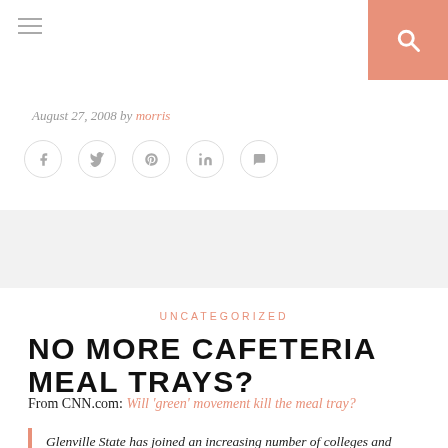Navigation bar with hamburger menu and search button
August 27, 2008 by morris
[Figure (other): Social sharing icons row: Facebook, Twitter, Pinterest, LinkedIn, Comment]
UNCATEGORIZED
NO MORE CAFETERIA MEAL TRAYS?
From CNN.com: Will 'green' movement kill the meal tray?
Glenville State has joined an increasing number of colleges and universities that have shed their...